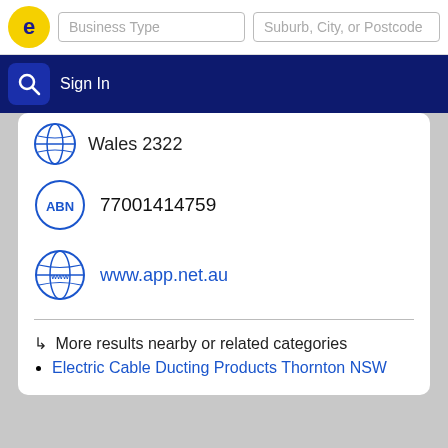[Figure (screenshot): Business directory search interface header with logo, Business Type and Suburb/City/Postcode search fields, and a blue navigation bar with search icon and Sign In link]
Wales 2322
77001414759
www.app.net.au
↳ More results nearby or related categories
Electric Cable Ducting Products Thornton NSW